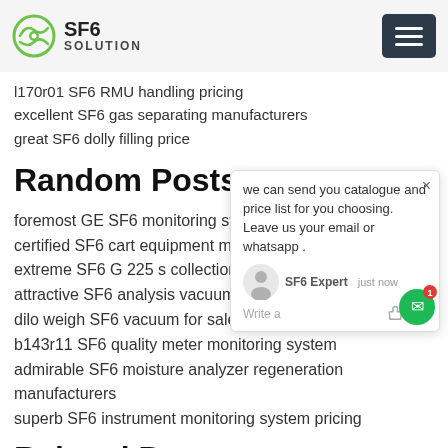SF6 SOLUTION
l170r01 SF6 RMU handling pricing
excellent SF6 gas separating manufacturers
great SF6 dolly filling price
Random Posts:
foremost GE SF6 monitoring system for
certified SF6 cart equipment manufactur
extreme SF6 G 225 s collection pric
attractive SF6 analysis vacuum factory
dilo weigh SF6 vacuum for sale
b143r11 SF6 quality meter monitoring system
admirable SF6 moisture analyzer regeneration manufacturers
superb SF6 instrument monitoring system pricing
Related Posts:
[Figure (screenshot): Chat popup with SF6 Expert offering to send catalogue and price list, asking for email or whatsapp]